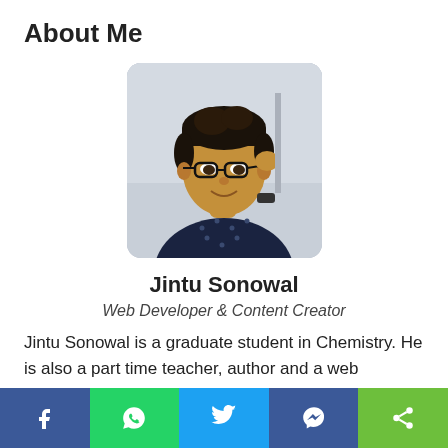About Me
[Figure (photo): Portrait photo of Jintu Sonowal, a young man wearing glasses and a dark patterned shirt, touching his glasses frame, with a light background]
Jintu Sonowal
Web Developer & Content Creator
Jintu Sonowal is a graduate student in Chemistry. He is also a part time teacher, author and a web developer. He is also a regular author to many sites. He has wrote
Facebook | WhatsApp | Twitter | Messenger | Share